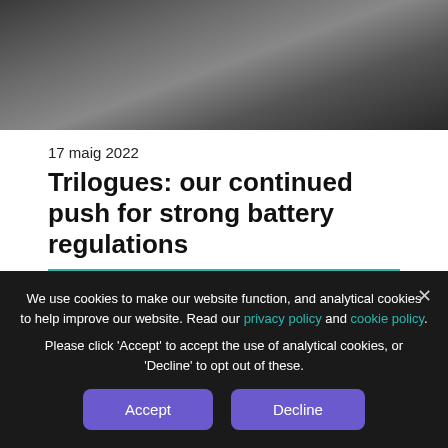[Figure (photo): Cropped photo showing hands near disassembled electronic device on a surface]
17 maig 2022
Trilogues: our continued push for strong battery regulations
In the context of the ongoing battery regulation trilogues, we reached out to MEPs to push for tough rules on battery removability
We use cookies to make our website function, and analytical cookies to help improve our website. Read our privacy policy and cookie policy.
Please click 'Accept' to accept the use of analytical cookies, or 'Decline' to opt out of these.